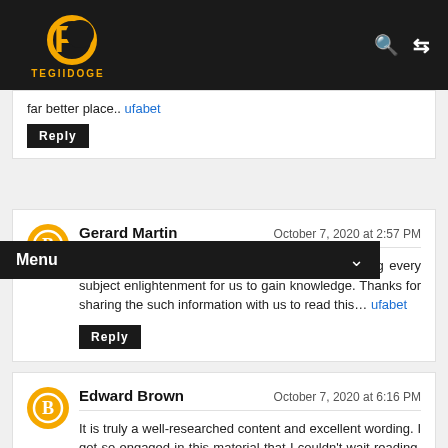TEGIIDOGE
far better place.. ufabet
Reply
Menu
Gerard Martin — October 7, 2020 at 2:57 PM
You made such an interesting piece to read, giving every subject enlightenment for us to gain knowledge. Thanks for sharing the such information with us to read this... ufabet
Reply
Edward Brown — October 7, 2020 at 6:16 PM
It is truly a well-researched content and excellent wording. I got so engaged in this material that I couldn't wait reading. I am impressed with your work and skill. Thanks.